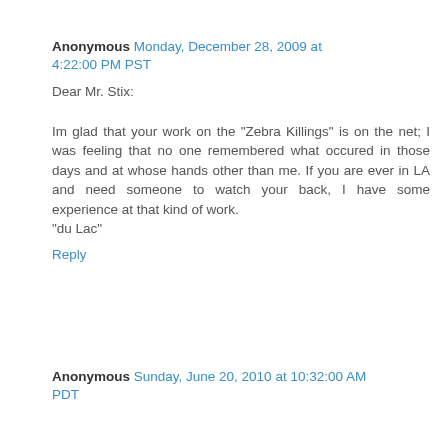Anonymous Monday, December 28, 2009 at 4:22:00 PM PST
Dear Mr. Stix:

Im glad that your work on the "Zebra Killings" is on the net; I was feeling that no one remembered what occured in those days and at whose hands other than me. If you are ever in LA and need someone to watch your back, I have some experience at that kind of work.
"du Lac"
Reply
Anonymous Sunday, June 20, 2010 at 10:32:00 AM PDT